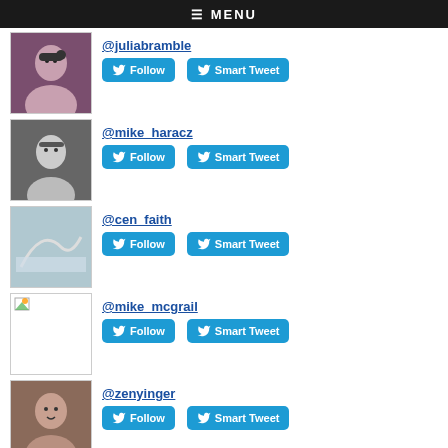≡ MENU
@juliabramble
@mike_haracz
@cen_faith
@mike_mcgrail
@zenyinger
@melcoach
Top Tweeters in G1:
@buffer